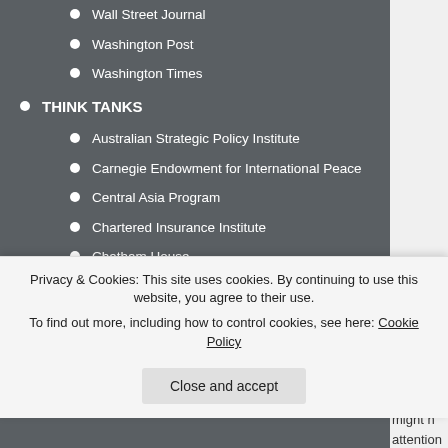Wall Street Journal
Washington Post
Washington Times
THINK TANKS
Australian Strategic Policy Institute
Carnegie Endowment for International Peace
Central Asia Program
Chartered Insurance Institute
Chatham House
CIDOB
Commonwealth
Durham Global Strategy Institute
ECRAN
EICTP
So while they might h attention and set a ne but it does not compl and, in the process, t
The UK had not expe transport system. Re more than the 9/11 a
Privacy & Cookies: This site uses cookies. By continuing to use this website, you agree to their use. To find out more, including how to control cookies, see here: Cookie Policy